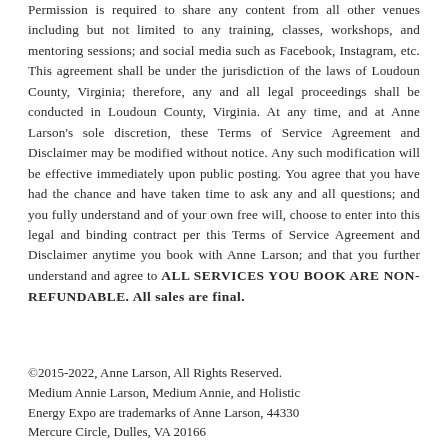Permission is required to share any content from all other venues including but not limited to any training, classes, workshops, and mentoring sessions; and social media such as Facebook, Instagram, etc. This agreement shall be under the jurisdiction of the laws of Loudoun County, Virginia; therefore, any and all legal proceedings shall be conducted in Loudoun County, Virginia. At any time, and at Anne Larson's sole discretion, these Terms of Service Agreement and Disclaimer may be modified without notice. Any such modification will be effective immediately upon public posting. You agree that you have had the chance and have taken time to ask any and all questions; and you fully understand and of your own free will, choose to enter into this legal and binding contract per this Terms of Service Agreement and Disclaimer anytime you book with Anne Larson; and that you further understand and agree to ALL SERVICES YOU BOOK ARE NON-REFUNDABLE. All sales are final.
©2015-2022, Anne Larson, All Rights Reserved. Medium Annie Larson, Medium Annie, and Holistic Energy Expo are trademarks of Anne Larson, 44330 Mercure Circle, Dulles, VA 20166